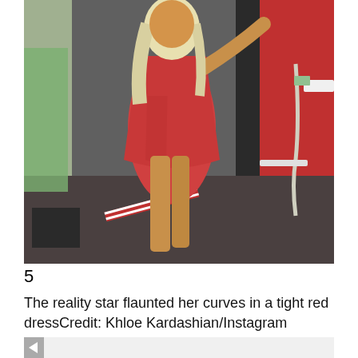[Figure (photo): A woman with long blonde hair wearing a tight short red dress posing in what appears to be a workshop or garage setting. She is leaning against a large red piece of equipment. Red and white striped tape is visible on the floor.]
5
The reality star flaunted her curves in a tight red dressCredit: Khloe Kardashian/Instagram